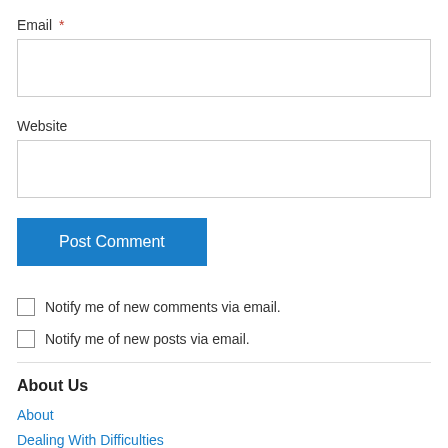Email *
[Figure (other): Empty email input text field]
Website
[Figure (other): Empty website input text field]
[Figure (other): Post Comment button (blue)]
Notify me of new comments via email.
Notify me of new posts via email.
About Us
About
Dealing With Difficulties